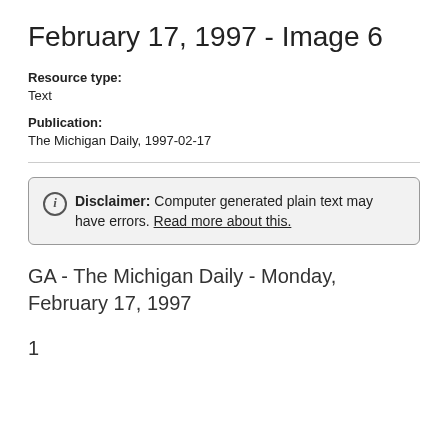February 17, 1997 - Image 6
Resource type:
Text
Publication:
The Michigan Daily, 1997-02-17
Disclaimer: Computer generated plain text may have errors. Read more about this.
GA - The Michigan Daily - Monday, February 17, 1997
1